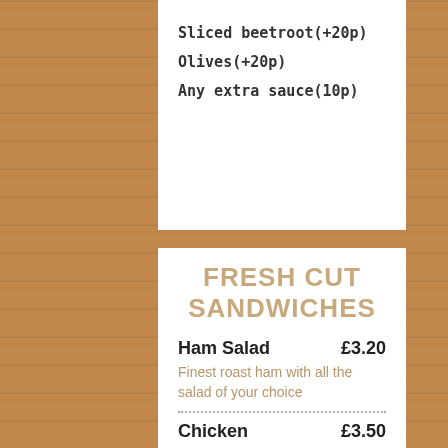Sliced beetroot(+20p)
Olives(+20p)
Any extra sauce(10p)
FRESH CUT SANDWICHES
Ham Salad £3.20
Finest roast ham with all the salad of your choice
Chicken £3.50
Fresh sliced chicken breast
Coronation Chicken £3.70